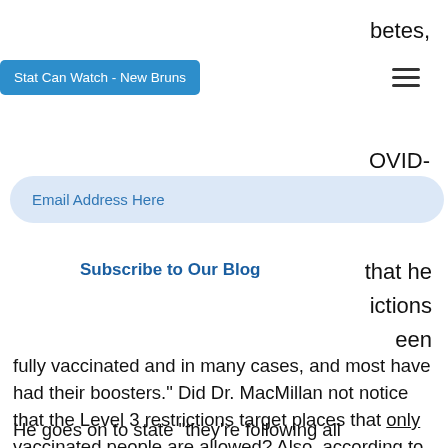betes,
Stat Can Watch - New Bruns
Email Address Here
Subscribe to Our Blog
OVID-
hat he
ictions
een
fully vaccinated and in many cases, and most have had their boosters." Did Dr. MacMillan not notice that the Level 3 restrictions target places that only vaccinated people are allowed? Also, according to the COVID dashboard, less than half of those with two shots have had their booster, not "most".
He goes on to state "they're following all